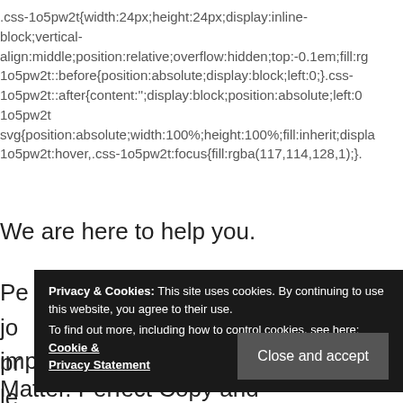.css-1o5pw2t{width:24px;height:24px;display:inline-block;vertical-align:middle;position:relative;overflow:hidden;top:-0.1em;fill:rg 1o5pw2t::before{position:absolute;display:block;left:0;}.css-1o5pw2t::after{content:'';display:block;position:absolute;left:0 1o5pw2t svg{position:absolute;width:100%;height:100%;fill:inherit;displa 1o5pw2t:hover,.css-1o5pw2t:focus{fill:rgba(117,114,128,1);}.
We are here to help you.
Pe ng jo pr ce le
[Figure (screenshot): Cookie consent overlay with dark background. Text reads: 'Privacy & Cookies: This site uses cookies. By continuing to use this website, you agree to their use. To find out more, including how to control cookies, see here: Cookie & Privacy Statement'. Button: 'Close and accept']
important to state that Black Lives Matter. Perfect Copy and